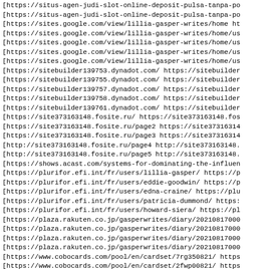[https://situs-agen-judi-slot-online-deposit-pulsa-tanpa-po
[https://situs-agen-judi-slot-online-deposit-pulsa-tanpa-po
[https://sites.google.com/view/lillia-gasper-writes/home ht
[https://sites.google.com/view/lillia-gasper-writes/home/us
[https://sites.google.com/view/lillia-gasper-writes/home/us
[https://sites.google.com/view/lillia-gasper-writes/home/us
[https://sites.google.com/view/lillia-gasper-writes/home/us
[https://sitebuilder139753.dynadot.com/ https://sitebuilder
[https://sitebuilder139755.dynadot.com/ https://sitebuilder
[https://sitebuilder139757.dynadot.com/ https://sitebuilder
[https://sitebuilder139758.dynadot.com/ https://sitebuilder
[https://sitebuilder139761.dynadot.com/ https://sitebuilder
[https://site373163148.fosite.ru/ https://site373163148.fos
[https://site373163148.fosite.ru/page2 https://site37316314
[https://site373163148.fosite.ru/page3 https://site37316314
[http://site373163148.fosite.ru/page4 http://site373163148.
[http://site373163148.fosite.ru/page5 http://site373163148.
[https://shows.acast.com/systems-for-dominating-the-influen
[https://plurifor.efi.int/fr/users/lillia-gasper/ https://p
[https://plurifor.efi.int/fr/users/eddie-goodwin/ https://p
[https://plurifor.efi.int/fr/users/edna-craine/ https://plu
[https://plurifor.efi.int/fr/users/patricia-dummond/ https:
[https://plurifor.efi.int/fr/users/howard-siera/ https://pl
[https://plaza.rakuten.co.jp/gasperwrites/diary/20210817000
[https://plaza.rakuten.co.jp/gasperwrites/diary/20210817000
[https://plaza.rakuten.co.jp/gasperwrites/diary/20210817000
[https://plaza.rakuten.co.jp/gasperwrites/diary/20210817000
[https://www.cobocards.com/pool/en/cardset/7rg350821/ https
[https://www.cobocards.com/pool/en/cardset/2fwp00821/ https
[https://www.cobocards.com/pool/en/cardset/4ea1z0821/ https